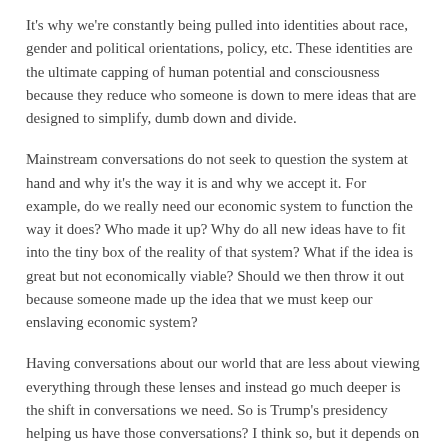It's why we're constantly being pulled into identities about race, gender and political orientations, policy, etc. These identities are the ultimate capping of human potential and consciousness because they reduce who someone is down to mere ideas that are designed to simplify, dumb down and divide.
Mainstream conversations do not seek to question the system at hand and why it's the way it is and why we accept it. For example, do we really need our economic system to function the way it does? Who made it up? Why do all new ideas have to fit into the tiny box of the reality of that system? What if the idea is great but not economically viable? Should we then throw it out because someone made up the idea that we must keep our enslaving economic system?
Having conversations about our world that are less about viewing everything through these lenses and instead go much deeper is the shift in conversations we need. So is Trump's presidency helping us have those conversations? I think so, but it depends on how you choose to discuss it.
In the video below I provide an example and a metaphor for how important it truly is that we begin looking at our reality and news